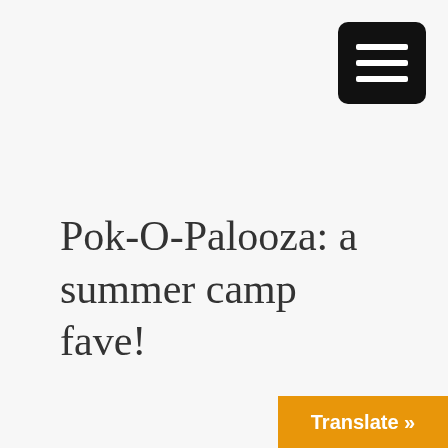[Figure (other): Hamburger menu button: black rounded rectangle with three white horizontal bars]
Pok-O-Palooza: a summer camp fave!
Translate »